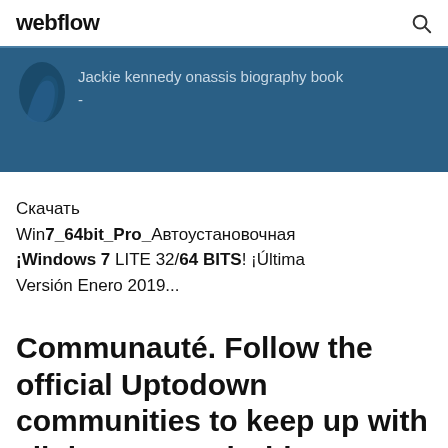webflow
[Figure (screenshot): Dark blue banner with a partial silhouette image on the left and text 'Jackie kennedy onassis biography book' with a dash below]
Скачать Win7_64bit_Pro_Автоустановочная ¡Windows 7 LITE 32/64 BITS! ¡Última Versión Enero 2019...
Communauté. Follow the official Uptodown communities to keep up with all the new Android apps